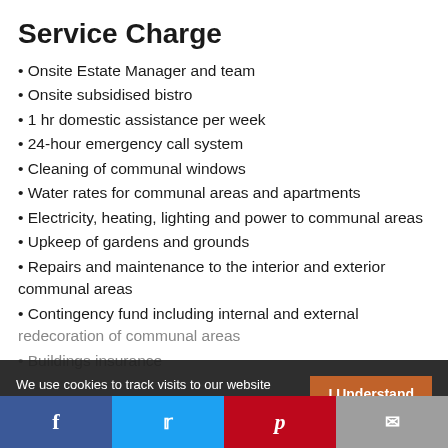Service Charge
Onsite Estate Manager and team
Onsite subsidised bistro
1 hr domestic assistance per week
24-hour emergency call system
Cleaning of communal windows
Water rates for communal areas and apartments
Electricity, heating, lighting and power to communal areas
Upkeep of gardens and grounds
Repairs and maintenance to the interior and exterior communal areas
Contingency fund including internal and external redecoration of communal areas
Buildings insurance
We use cookies to track visits to our website and provide some optional personalisation.